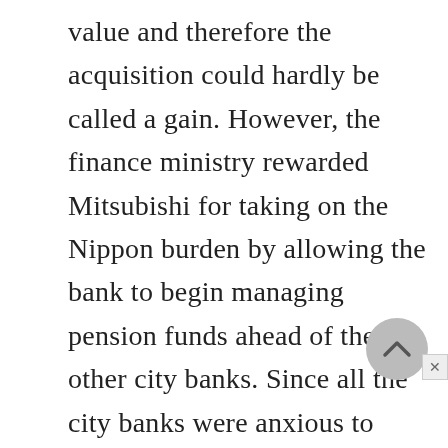value and therefore the acquisition could hardly be called a gain. However, the finance ministry rewarded Mitsubishi for taking on the Nippon burden by allowing the bank to begin managing pension funds ahead of the other city banks. Since all the city banks were anxious to move into various financial services and were frustrated at the slow pace of deregulation, this was a significant coup for Mitsubishi.